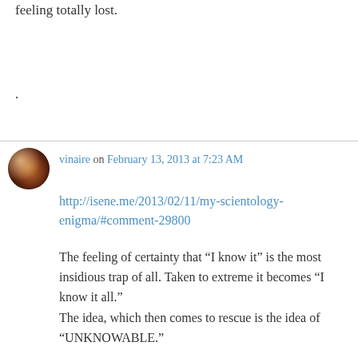feeling totally lost.
.
vinaire on February 13, 2013 at 7:23 AM
http://isene.me/2013/02/11/my-scientology-enigma/#comment-29800
The feeling of certainty that “I know it” is the most insidious trap of all. Taken to extreme it becomes “I know it all.”
The idea, which then comes to rescue is the idea of “UNKNOWABLE.”
.